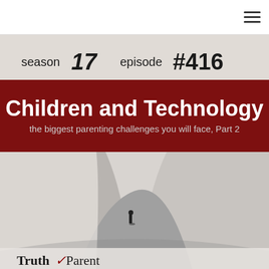☰ (navigation menu icon)
[Figure (illustration): Podcast cover art for Truth for Parents: season 17 episode #416 'Children and Technology – the biggest parenting challenges you will face, Part 2'. Features a black and white photo of a lone figure standing between two large sand dunes. The top portion has the episode title block with dark red/maroon background. Bottom has partial Truth4Parent logo text.]